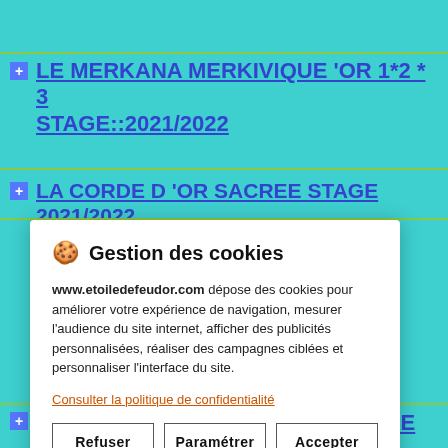LE MERKANA MERKIVIQUE 'OR 1*2 * 3 STAGE::2021/2022
LA CORDE D 'OR SACREE STAGE 2021/2022
🍪 Gestion des cookies

www.etoiledefeudor.com dépose des cookies pour améliorer votre expérience de navigation, mesurer l'audience du site internet, afficher des publicités personnalisées, réaliser des campagnes ciblées et personnaliser l'interface du site.

Consulter la politique de confidentialité

[Refuser] [Paramétrer] [Accepter]
LA FLAMME D 'OR SOLAIRE STAGE